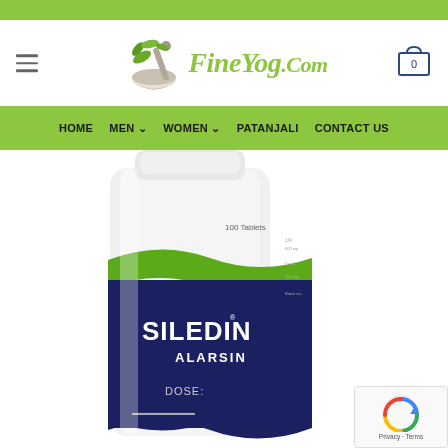FineYog.Com
HOME  MEN  WOMEN  PATANJALI  CONTACT US
[Figure (photo): Product photo of Siledin Alarsin tablet bottle (100 tablets), showing dark navy and green label with brand name SILEDIN, manufacturer ALARSIN, and DOSE text visible.]